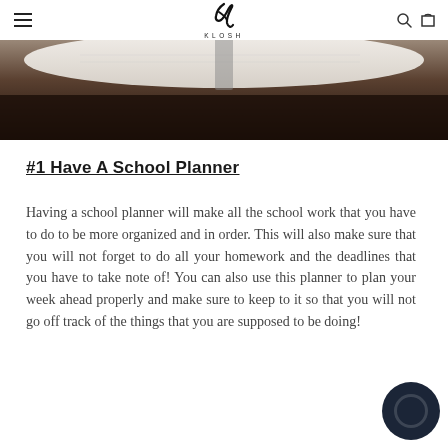KLOSH
[Figure (photo): Bottom portion of an open notebook/planner lying on a dark wooden table, close-up shot with shallow depth of field]
#1 Have A School Planner
Having a school planner will make all the school work that you have to do to be more organized and in order. This will also make sure that you will not forget to do all your homework and the deadlines that you have to take note of! You can also use this planner to plan your week ahead properly and make sure to keep to it so that you will not go off track of the things that you are supposed to be doing!